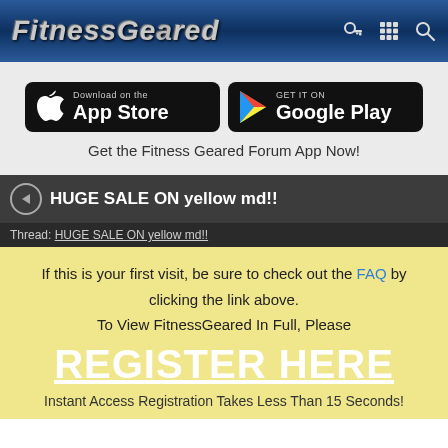FitnessGeared
[Figure (screenshot): App Store download button for iOS]
[Figure (screenshot): Google Play download button for Android]
Get the Fitness Geared Forum App Now!
HUGE SALE ON yellow md!!
Thread: HUGE SALE ON yellow md!!
If this is your first visit, be sure to check out the FAQ by clicking the link above. To View FitnessGeared In Full, Please
REGISTER HERE
Instant Access Registration Takes Less Than 15 Seconds!